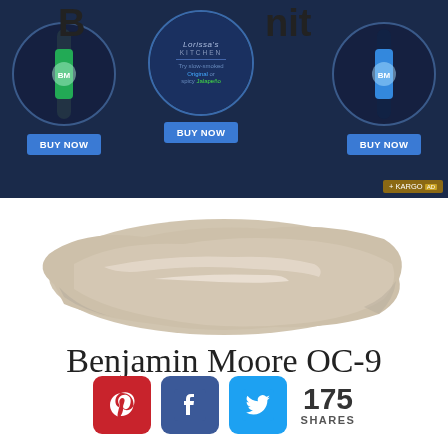[Figure (screenshot): Advertisement banner for Lorissa's Kitchen slow-smoked sausages with three product circles and BUY NOW buttons on dark navy background. Also shows partial page title text behind the ad.]
[Figure (illustration): Paint brush stroke swatch in a warm greige/beige color (Benjamin Moore OC-9) on white background]
Benjamin Moore OC-9
[Figure (infographic): Social share buttons: Pinterest (red), Facebook (dark blue), Twitter (light blue), with 175 SHARES count]